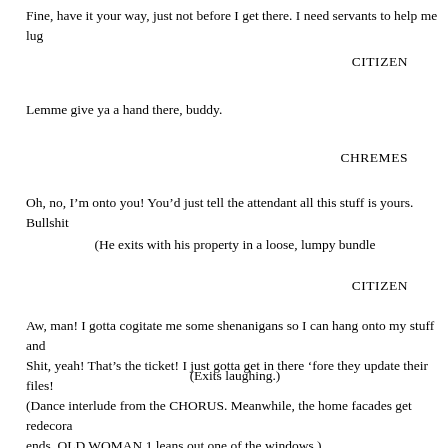Fine, have it your way, just not before I get there. I need servants to help me lug
CITIZEN
Lemme give ya a hand there, buddy.
CHREMES
Oh, no, I’m onto you! You’d just tell the attendant all this stuff is yours. Bullshit
(He exits with his property in a loose, lumpy bundle
CITIZEN
Aw, man! I gotta cogitate me some shenanigans so I can hang onto my stuff and
Shit, yeah! That’s the ticket! I just gotta get in there ’fore they update their files!
(Exits laughing.)
(Dance interlude from the CHORUS. Meanwhile, the home facades get redecora
ends, OLD WOMAN 1 leans out one of the windows.)
OLD WOMAN 1
What gives? No men in sight, though I know my time has come. Is it all for noth